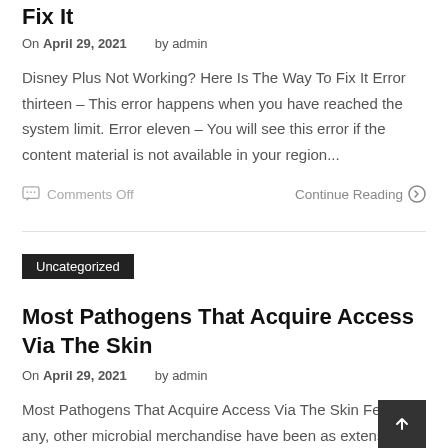Fix It
On April 29, 2021    by admin
Disney Plus Not Working? Here Is The Way To Fix It Error thirteen – This error happens when you have reached the system limit. Error eleven – You will see this error if the content material is not available in your region...
Comments Off    Continue Reading
Uncategorized
Most Pathogens That Acquire Access Via The Skin
On April 29, 2021    by admin
Most Pathogens That Acquire Access Via The Skin Few, if any, other microbial merchandise have been as extensively